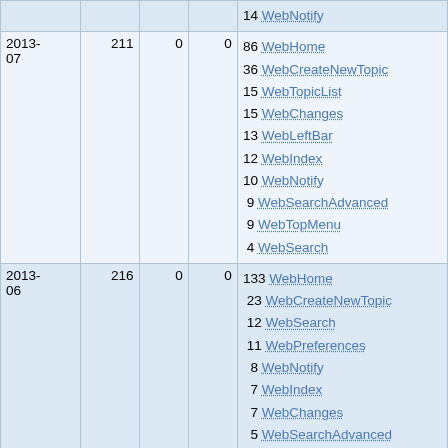| Date | Views | Edits | Contrib | Top pages |
| --- | --- | --- | --- | --- |
|  |  |  |  | 14 WebNotify |
| 2013-07 | 211 | 0 | 0 | 86 WebHome
36 WebCreateNewTopic
15 WebTopicList
15 WebChanges
13 WebLeftBar
12 WebIndex
10 WebNotify
9 WebSearchAdvanced
9 WebTopMenu
4 WebSearch |
| 2013-06 | 216 | 0 | 0 | 133 WebHome
23 WebCreateNewTopic
12 WebSearch
11 WebPreferences
8 WebNotify
7 WebIndex
7 WebChanges
5 WebSearchAdvanced
5 WebTopicList
3 WebTopMenu |